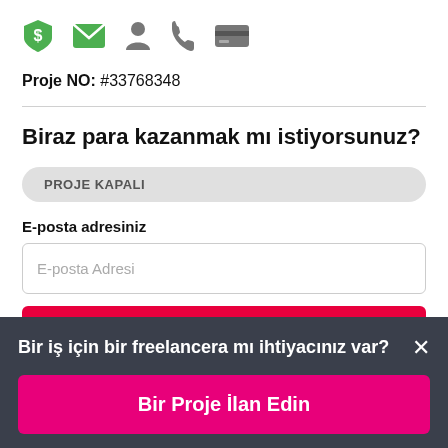[Figure (infographic): Row of 5 icons: green shield with dollar sign, green envelope, gray person/user icon, gray phone icon, gray credit card icon]
Proje NO: #33768348
Biraz para kazanmak mı istiyorsunuz?
PROJE KAPALI
E-posta adresiniz
E-posta Adresi
Bir iş için bir freelancera mı ihtiyacınız var? ×
Bir Proje İlan Edin